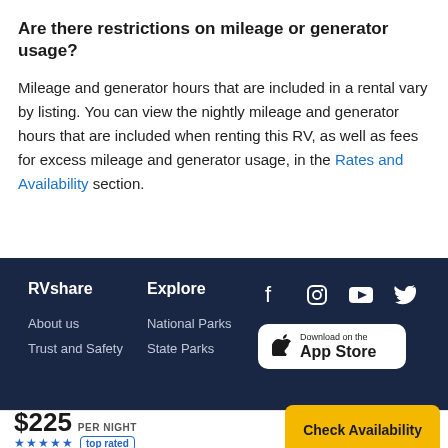Are there restrictions on mileage or generator usage?
Mileage and generator hours that are included in a rental vary by listing. You can view the nightly mileage and generator hours that are included when renting this RV, as well as fees for excess mileage and generator usage, in the Rates and Availability section.
RVshare | Explore | About us | National Parks | Trust and Safety | State Parks | Download on the App Store | Facebook | Instagram | YouTube | Twitter
$225 PER NIGHT ★★★★★ top rated
Check Availability